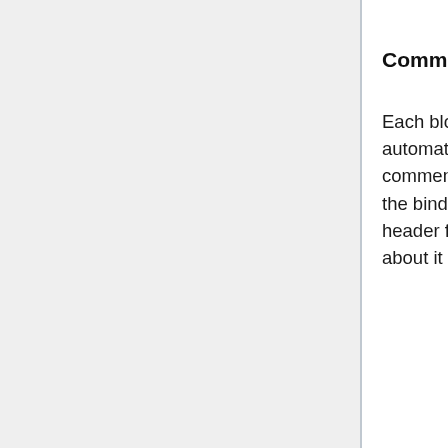Comment Block
Each block binding file contains an automatically generated and maintained comment block that informs CMake when the bindings are out of sync with the header file they refer to, and what to do about it
[Figure (screenshot): Code block showing a comment block in C style. Contains lines of asterisks as a divider, followed by comments: /* This file is automatically generated using bindtool and can be manually edited */, /* The following lines can be configured to regenerate this file during cmake */, /* If manual edits are ...]